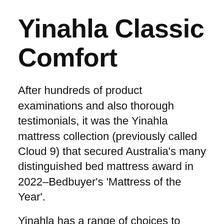Yinahla Classic Comfort
After hundreds of product examinations and also thorough testimonials, it was the Yinahla mattress collection (previously called Cloud 9) that secured Australia’s many distinguished bed mattress award in 2022–Bedbuyer’s ‘Mattress of the Year’.
Yinahla has a range of choices to match nearly anybody, however it was the Yinahla Classic Comfort that our professional group picked as the best ‘all round’ mattress in this collection.
The Yinahla Classic Comfort has a beautiful